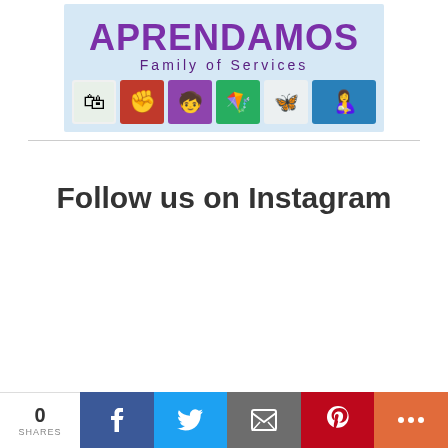[Figure (logo): Aprendamos Family of Services logo with colorful illustrated icons and purple text]
Follow us on Instagram
0 SHARES — Facebook, Twitter, Email, Pinterest, More share buttons